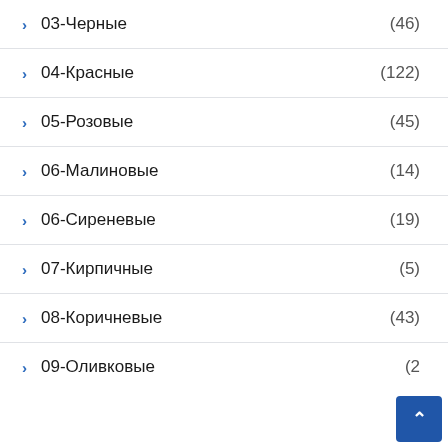> 03-Черные (46)
> 04-Красные (122)
> 05-Розовые (45)
> 06-Малиновые (14)
> 06-Сиреневые (19)
> 07-Кирпичные (5)
> 08-Коричневые (43)
> 09-Оливковые (2…)